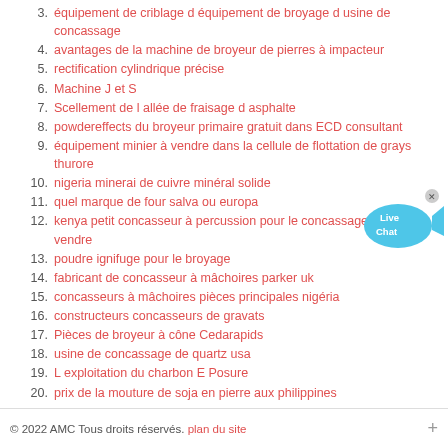3. équipement de criblage d équipement de broyage d usine de concassage
4. avantages de la machine de broyeur de pierres à impacteur
5. rectification cylindrique précise
6. Machine J et S
7. Scellement de l allée de fraisage d asphalte
8. powdereffects du broyeur primaire gratuit dans ECD consultant
9. équipement minier à vendre dans la cellule de flottation de grays thurore
10. nigeria minerai de cuivre minéral solide
11. quel marque de four salva ou europa
12. kenya petit concasseur à percussion pour le concassage de pierre à vendre
13. poudre ignifuge pour le broyage
14. fabricant de concasseur à mâchoires parker uk
15. concasseurs à mâchoires pièces principales nigéria
16. constructeurs concasseurs de gravats
17. Pièces de broyeur à cône Cedarapids
18. usine de concassage de quartz usa
19. L exploitation du charbon E Posure
20. prix de la mouture de soja en pierre aux philippines
[Figure (illustration): Live Chat bubble widget — blue fish/speech bubble shape with 'Live Chat' text and an X close button]
© 2022 AMC Tous droits réservés. plan du site